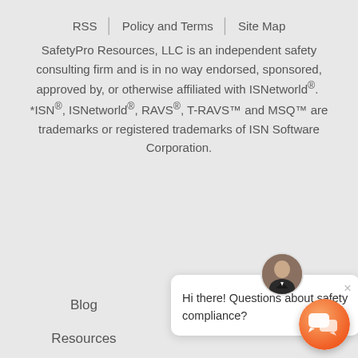RSS | Policy and Terms | Site Map
SafetyPro Resources, LLC is an independent safety consulting firm and is in no way endorsed, sponsored, approved by, or otherwise affiliated with ISNetworld®. *ISN®, ISNetworld®, RAVS®, T-RAVS™ and MSQ™ are trademarks or registered trademarks of ISN Software Corporation.
[Figure (photo): Chat widget with avatar photo of a man in a suit, a white chat bubble reading 'Hi there! Questions about safety compliance?' with a close (×) button, and an orange chat launcher button in the bottom right corner.]
Blog
Resources
Testimonials
Contact Us